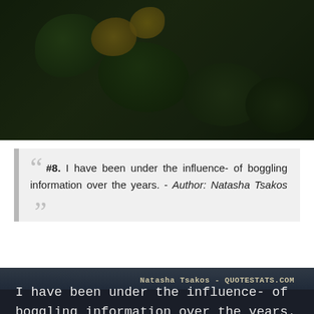[Figure (photo): Dark nature/floral background photo with green leaves and yellow flowers against a dark background]
““ #8. I have been under the influence- of boggling information over the years. - Author: Natasha Tsakos ””
[Figure (photo): Dark moody landscape/cityscape photo at dusk with text overlay: 'I have been under the influence- of boggling information over the years.' and attribution 'Natasha Tsakos - QUOTESTATS.COM']